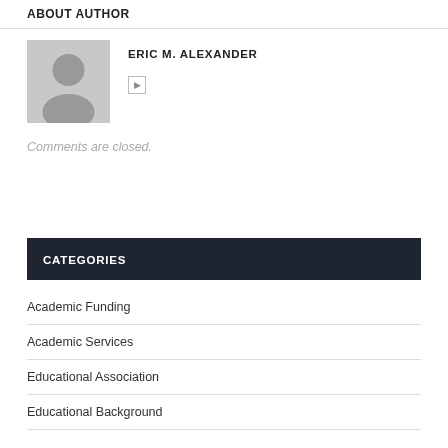ABOUT AUTHOR
[Figure (photo): Gray placeholder avatar with silhouette of a person (head and shoulders)]
ERIC M. ALEXANDER
Comments are closed.
CATEGORIES
Academic Funding
Academic Services
Educational Association
Educational Background